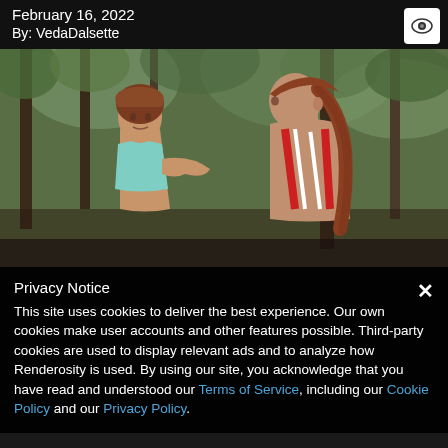February 16, 2022
By: VedaDalsette
[Figure (illustration): 3D rendered scene showing two women with reddish-brown hair outdoors among trees; one wearing a teal halter top gesturing, the other with a braided ponytail wearing a red and white patterned halter]
Privacy Notice
This site uses cookies to deliver the best experience. Our own cookies make user accounts and other features possible. Third-party cookies are used to display relevant ads and to analyze how Renderosity is used. By using our site, you acknowledge that you have read and understood our Terms of Service, including our Cookie Policy and our Privacy Policy.